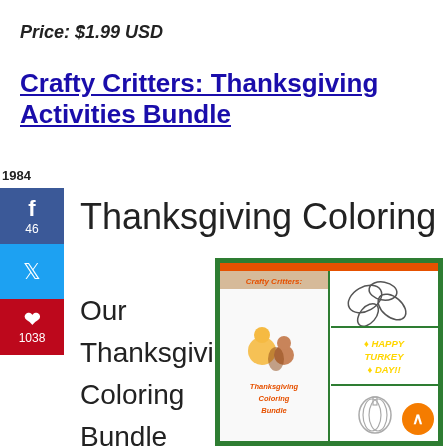Price: $1.99 USD
Crafty Critters: Thanksgiving Activities Bundle
1984
SHARES
f 46
🐦
1038
Thanksgiving Coloring Bundle
Our
Thanksgiving
Coloring
Bundle
includes:
[Figure (illustration): Product bundle cover showing Crafty Critters Thanksgiving Coloring Bundle with cartoon animals, leaf coloring pages, Happy Turkey Day text, and a turkey/pumpkin coloring page, all within a green border.]